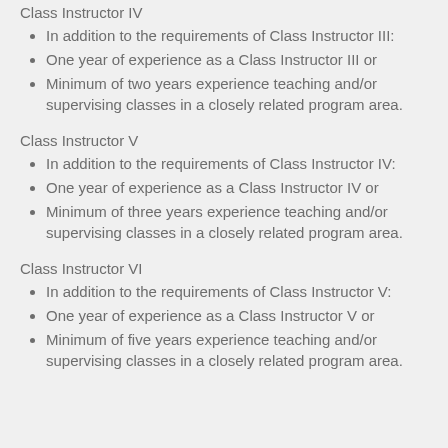Class Instructor IV
In addition to the requirements of Class Instructor III:
One year of experience as a Class Instructor III or
Minimum of two years experience teaching and/or supervising classes in a closely related program area.
Class Instructor V
In addition to the requirements of Class Instructor IV:
One year of experience as a Class Instructor IV or
Minimum of three years experience teaching and/or supervising classes in a closely related program area.
Class Instructor VI
In addition to the requirements of Class Instructor V:
One year of experience as a Class Instructor V or
Minimum of five years experience teaching and/or supervising classes in a closely related program area.